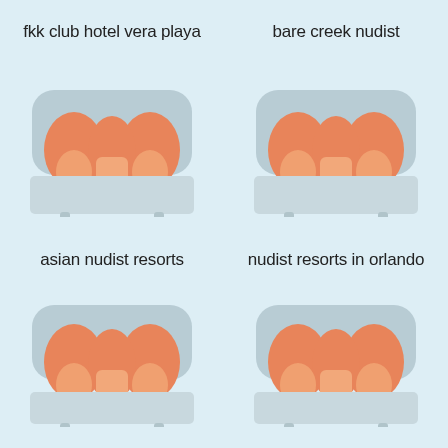fkk club hotel vera playa
[Figure (illustration): Flat icon of two people in bed, orange figures on gray bed with headboard]
bare creek nudist
[Figure (illustration): Flat icon of two people in bed, orange figures on gray bed with headboard]
asian nudist resorts
[Figure (illustration): Flat icon of two people in bed, orange figures on gray bed with headboard]
nudist resorts in orlando
[Figure (illustration): Flat icon of two people in bed, orange figures on gray bed with headboard]